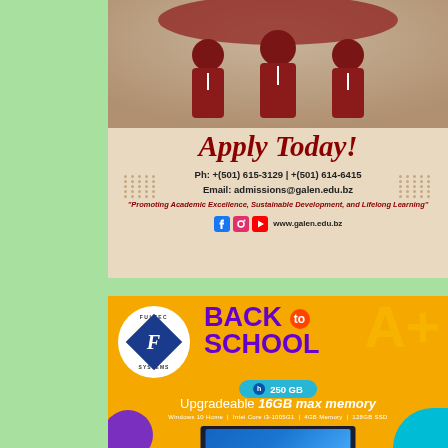[Figure (infographic): Galen University admissions advertisement with students in red shirts at top, 'Apply Today!' heading, contact info, tagline, and social media links on beige background]
[Figure (infographic): Fultec Systems Back to School advertisement on yellow/orange background featuring HP 250 GB laptop with specs: Windows 10 Home, Intel Core i3-1005G1, 4GB Memory, 128GB SSD. Upgradeable 16GB max memory. Fultec Systems logo with diamond F symbol.]